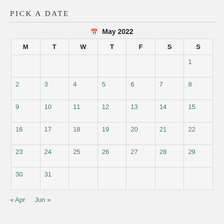PICK A DATE
| M | T | W | T | F | S | S |
| --- | --- | --- | --- | --- | --- | --- |
|  |  |  |  |  |  | 1 |
| 2 | 3 | 4 | 5 | 6 | 7 | 8 |
| 9 | 10 | 11 | 12 | 13 | 14 | 15 |
| 16 | 17 | 18 | 19 | 20 | 21 | 22 |
| 23 | 24 | 25 | 26 | 27 | 28 | 29 |
| 30 | 31 |  |  |  |  |  |
« Apr   Jun »